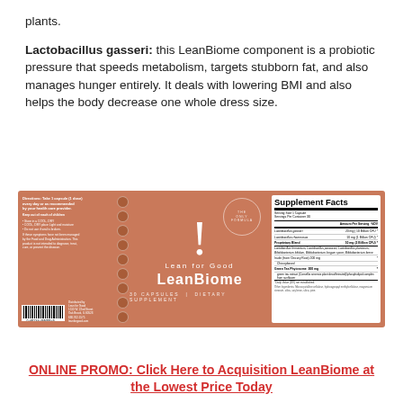plants.
Lactobacillus gasseri: this LeanBiome component is a probiotic pressure that speeds metabolism, targets stubborn fat, and also manages hunger entirely. It deals with lowering BMI and also helps the body decrease one whole dress size.
[Figure (photo): LeanBiome supplement bottle label on an orange/terracotta background showing Supplement Facts panel with Lactobacillus gasseri, Lactobacillus rhamnosus, Proprietary Blend, and Green Tea Phytosome ingredients.]
ONLINE PROMO: Click Here to Acquisition LeanBiome at the Lowest Price Today